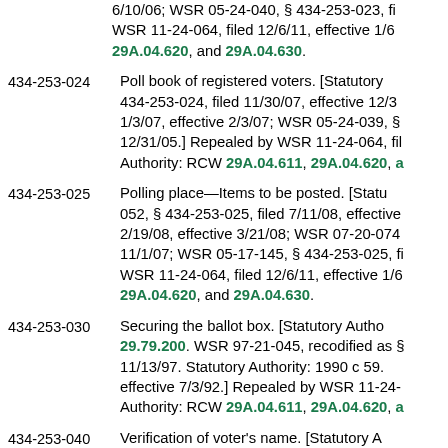6/10/06; WSR 05-24-040, § 434-253-023, filed... WSR 11-24-064, filed 12/6/11, effective 1/6... 29A.04.620, and 29A.04.630.
434-253-024  Poll book of registered voters. [Statutory... 434-253-024, filed 11/30/07, effective 12/3... 1/3/07, effective 2/3/07; WSR 05-24-039, §... 12/31/05.] Repealed by WSR 11-24-064, fil... Authority: RCW 29A.04.611, 29A.04.620, a
434-253-025  Polling place—Items to be posted. [Statu... 052, § 434-253-025, filed 7/11/08, effective... 2/19/08, effective 3/21/08; WSR 07-20-074... 11/1/07; WSR 05-17-145, § 434-253-025, fi... WSR 11-24-064, filed 12/6/11, effective 1/6... 29A.04.620, and 29A.04.630.
434-253-030  Securing the ballot box. [Statutory Autho... 29.79.200. WSR 97-21-045, recodified as §... 11/13/97. Statutory Authority: 1990 c 59.... effective 7/3/92.] Repealed by WSR 11-24-... Authority: RCW 29A.04.611, 29A.04.620, a
434-253-040  Verification of voter's name. [Statutory A... and 29.79.200. WSR 97-21-045, recodified...